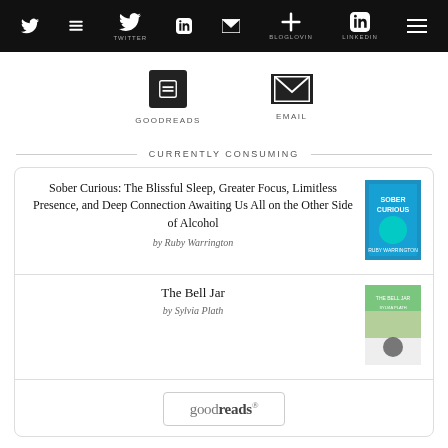TWITTER  BLOGLOVIN  LINKEDIN
[Figure (infographic): Social media navigation icons bar with GOODREADS and EMAIL icons below]
CURRENTLY CONSUMING
Sober Curious: The Blissful Sleep, Greater Focus, Limitless Presence, and Deep Connection Awaiting Us All on the Other Side of Alcohol by Ruby Warrington
The Bell Jar by Sylvia Plath
[Figure (logo): goodreads logo button]